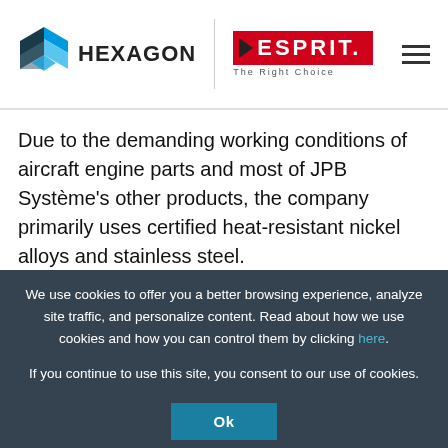[Figure (logo): Hexagon and ESPRIT logos in page header with hamburger menu icon]
Due to the demanding working conditions of aircraft engine parts and most of JPB Système's other products, the company primarily uses certified heat-resistant nickel alloys and stainless steel.
We use cookies to offer you a better browsing experience, analyze site traffic, and personalize content. Read about how we use cookies and how you can control them by clicking here.

If you continue to use this site, you consent to our use of cookies.